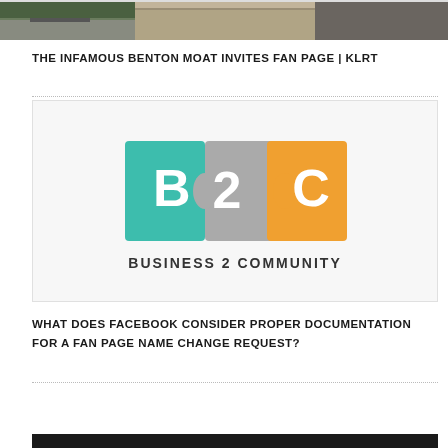[Figure (photo): Partial top image showing a road and building exterior, cropped at the top of the page]
THE INFAMOUS BENTON MOAT INVITES FAN PAGE | KLRT
[Figure (logo): Business 2 Community logo with puzzle pieces: teal piece with B, grey piece with 2, orange piece with C, and text BUSINESS 2 COMMUNITY below]
WHAT DOES FACEBOOK CONSIDER PROPER DOCUMENTATION FOR A FAN PAGE NAME CHANGE REQUEST?